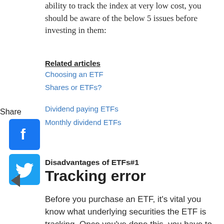ability to track the index at very low cost, you should be aware of the below 5 issues before investing in them:
Related articles
Choosing an ETF
Shares or ETFs?
Dividend paying ETFs
Monthly dividend ETFs
Share
[Figure (logo): Facebook share icon - blue square with white F logo]
[Figure (logo): Twitter share icon - blue square with white bird logo]
Disadvantages of ETFs#1
Tracking error
Before you purchase an ETF, it's vital you know what underlying securities the ETF is tracking. Once you've done this, you have to accept some "tracking error", in other words, the ETF doesn't perform exactly how its underlying securities or benchmark perform.